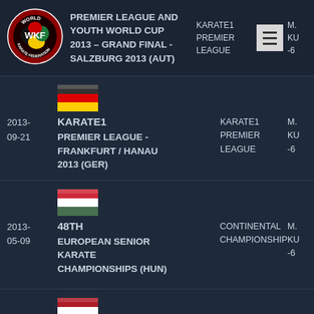[Figure (logo): WKF World Karate Federation circular logo with colored shapes on dark background]
PREMIER LEAGUE AND YOUTH WORLD CUP 2013 – GRAND FINAL - SALZBURG 2013 (AUT)
KARATE1 PREMIER LEAGUE
M. KU -6
| Date | Flag | Event Type / Event Name | Category | Discipline |
| --- | --- | --- | --- | --- |
| 2013-09-21 | Germany | KARATE1
PREMIER LEAGUE - FRANKFURT / HANAU 2013 (GER) | KARATE1 PREMIER LEAGUE | M. KU -6 |
| 2013-05-09 | Hungary | 48TH
EUROPEAN SENIOR KARATE CHAMPIONSHIPS (HUN) | CONTINENTAL CHAMPIONSHIP | M. KU -6 |
| 2013- | Netherlands | KARATE1 | KARATE1 PREMIER | M. KU |